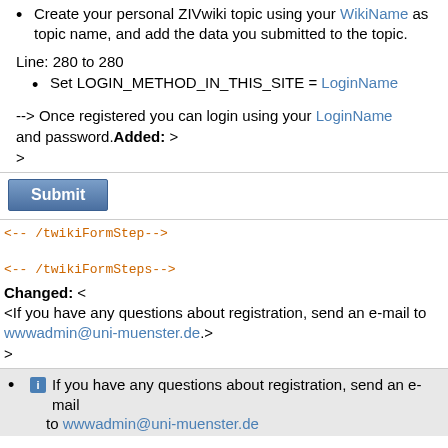Create your personal ZIVwiki topic using your WikiName as topic name, and add the data you submitted to the topic.
Line: 280 to 280
Set LOGIN_METHOD_IN_THIS_SITE = LoginName
--> Once registered you can login using your LoginName and password.Added: >
>
Submit
<-- /twikiFormStep-->
<-- /twikiFormSteps-->
Changed: <
<If you have any questions about registration, send an e-mail to wwwadmin@uni-muenster.de.>
>
If you have any questions about registration, send an e-mail to wwwadmin@uni-muenster.de